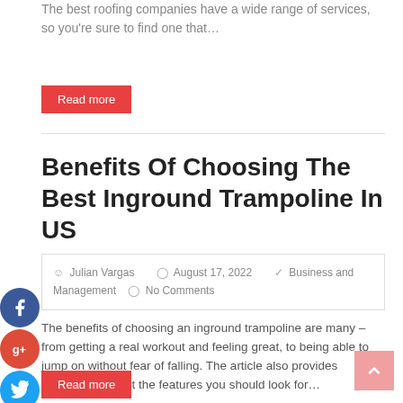The best roofing companies have a wide range of services, so you're sure to find one that…
Read more
Benefits Of Choosing The Best Inground Trampoline In US
Julian Vargas   August 17, 2022   Business and Management   No Comments
The benefits of choosing an inground trampoline are many – from getting a real workout and feeling great, to being able to jump on without fear of falling. The article also provides information about the features you should look for…
Read more